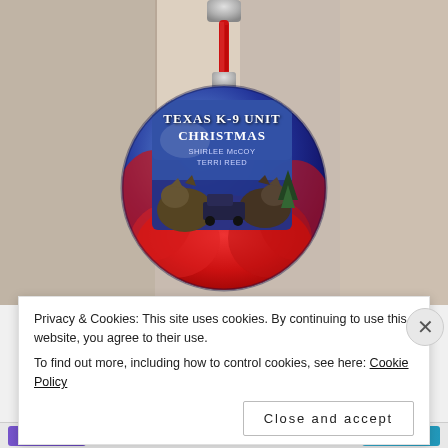[Figure (photo): A clear glass Christmas ornament decorated with a book cover for 'Texas K-9 Unit Christmas' by Shirlee McCoy and Terri Reed. The ornament is filled with red yarn/crocheted material, has a silver cap, and is hanging from a red braided cord on a door hook. The book cover shows two dogs (German Shepherds/K-9 dogs) and a truck against a blue winter night scene.]
Privacy & Cookies: This site uses cookies. By continuing to use this website, you agree to their use.
To find out more, including how to control cookies, see here: Cookie Policy
Close and accept